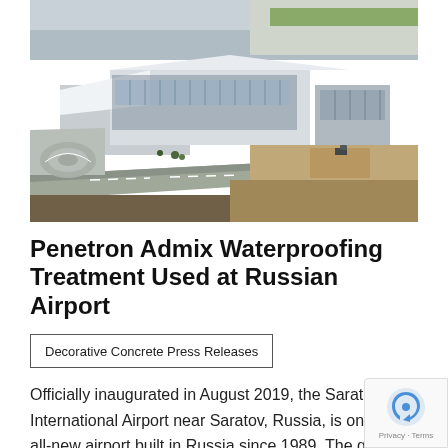[Figure (photo): Aerial drone view of Saratov Gagarin International Airport terminal building, a modern angular white structure with glass facade, surrounded by construction areas, roads, and flat landscape]
Penetron Admix Waterproofing Treatment Used at Russian Airport
Decorative Concrete Press Releases
Officially inaugurated in August 2019, the Saratov Ga International Airport near Saratov, Russia, is only the all-new airport built in Russia since 1989. The group